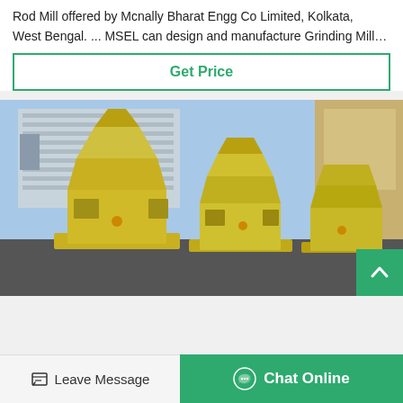Rod Mill offered by Mcnally Bharat Engg Co Limited, Kolkata, West Bengal. ... MSEL can design and manufacture Grinding Mill…
Get Price
[Figure (photo): Multiple large yellow industrial grinding mills (cone/roller type) lined up outdoors in front of a building, with blue sky visible.]
Leave Message
Chat Online